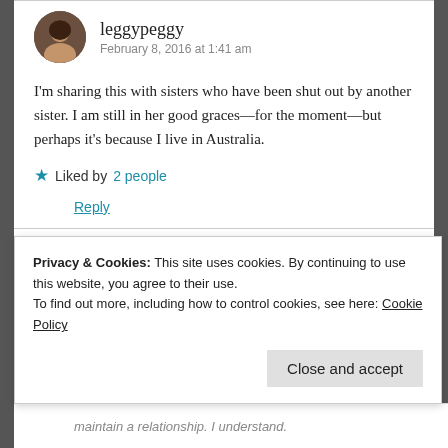leggypeggy
February 8, 2016 at 1:41 am
I'm sharing this with sisters who have been shut out by another sister. I am still in her good graces—for the moment—but perhaps it's because I live in Australia.
Liked by 2 people
Reply
Privacy & Cookies: This site uses cookies. By continuing to use this website, you agree to their use.
To find out more, including how to control cookies, see here: Cookie Policy
Close and accept
maintain a relationship. I understand.